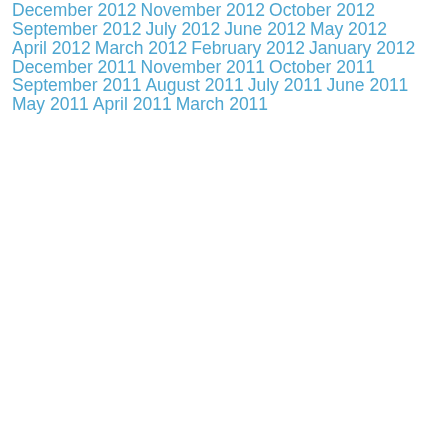December 2012
November 2012
October 2012
September 2012
July 2012
June 2012
May 2012
April 2012
March 2012
February 2012
January 2012
December 2011
November 2011
October 2011
September 2011
August 2011
July 2011
June 2011
May 2011
April 2011
March 2011